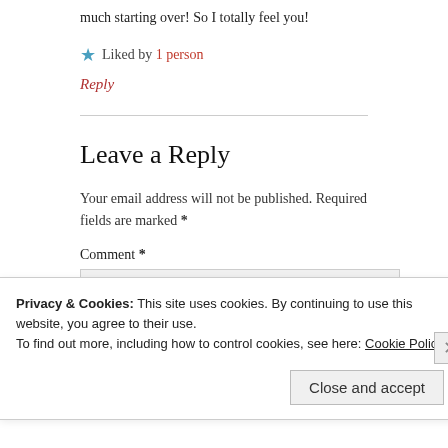much starting over! So I totally feel you!
★ Liked by 1 person
Reply
Leave a Reply
Your email address will not be published. Required fields are marked *
Comment *
Privacy & Cookies: This site uses cookies. By continuing to use this website, you agree to their use.
To find out more, including how to control cookies, see here: Cookie Policy